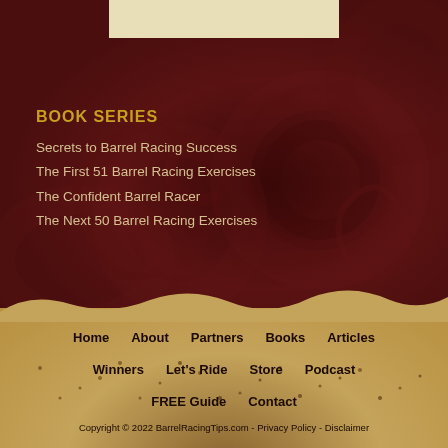[Figure (illustration): Cream/beige bar at top center against dark brown floral patterned background]
BOOK SERIES
Secrets to Barrel Racing Success
The First 51 Barrel Racing Exercises
The Confident Barrel Racer
The Next 50 Barrel Racing Exercises
[Figure (photo): Sandy dirt/earth textured background for footer navigation area]
Home   About   Partners   Books   Articles   Winners   Let's Ride   Store   Podcast   FREE Guide   Contact
Copyright © 2022 BarrelRacingTips.com - Privacy Policy - Disclaimer